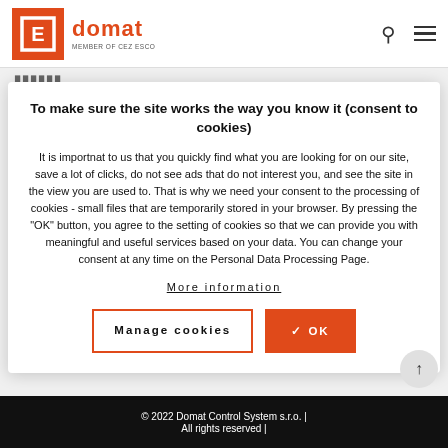domat — MEMBER OF CEZ ESCO
To make sure the site works the way you know it (consent to cookies)
It is importnat to us that you quickly find what you are looking for on our site, save a lot of clicks, do not see ads that do not interest you, and see the site in the view you are used to. That is why we need your consent to the processing of cookies - small files that are temporarily stored in your browser. By pressing the "OK" button, you agree to the setting of cookies so that we can provide you with meaningful and useful services based on your data. You can change your consent at any time on the Personal Data Processing Page.
More information
Manage cookies
✓ OK
© 2022 Domat Control System s.r.o. | All rights reserved |